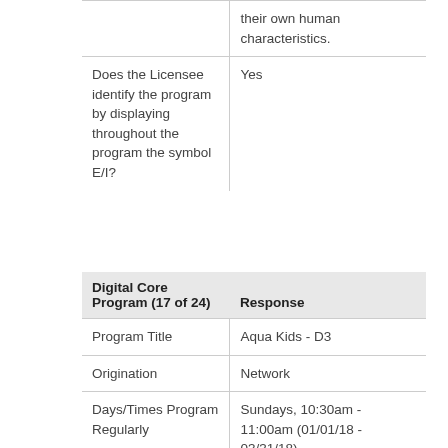|  |  |
| --- | --- |
|  | their own human characteristics. |
| Does the Licensee identify the program by displaying throughout the program the symbol E/I? | Yes |
| Digital Core Program (17 of 24) | Response |
| --- | --- |
| Program Title | Aqua Kids - D3 |
| Origination | Network |
| Days/Times Program Regularly | Sundays, 10:30am - 11:00am (01/01/18 - 03/31/18) |